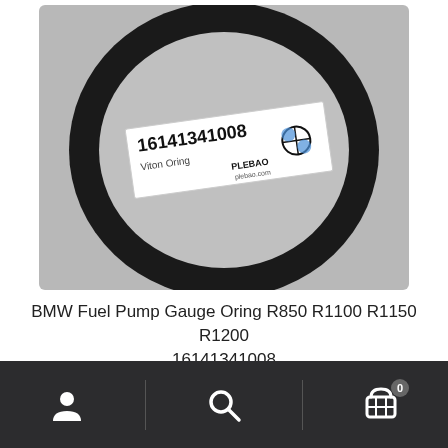[Figure (photo): A large black rubber O-ring (Viton Oring) laid flat on a gray surface, with a white label card reading '16141341008 Viton Oring' and the Plebao Moto logo with BMW roundel. The label also shows 'plebao.com'.]
BMW Fuel Pump Gauge Oring R850 R1100 R1150 R1200 16141341008
£6.65
Navigation bar with user account icon, search icon, and shopping cart icon with badge 0